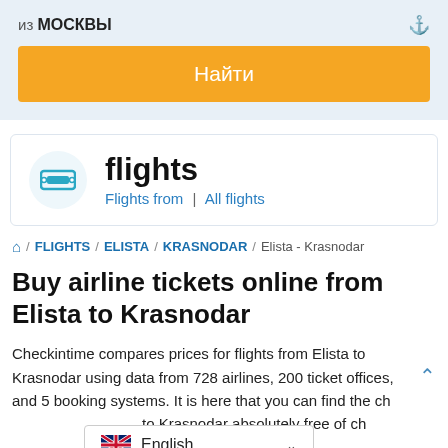из Москвы
Найти
[Figure (logo): Flights service logo with teal ticket icon and text 'flights']
Flights from | All flights
⌂ / FLIGHTS / ELISTA / KRASNODAR / Elista - Krasnodar
Buy airline tickets online from Elista to Krasnodar
Checkintime compares prices for flights from Elista to Krasnodar using data from 728 airlines, 200 ticket offices, and 5 booking systems. It is here that you can find the ch... to Krasnodar absolutely free of ch...
[Figure (screenshot): Language selector showing English with UK flag]